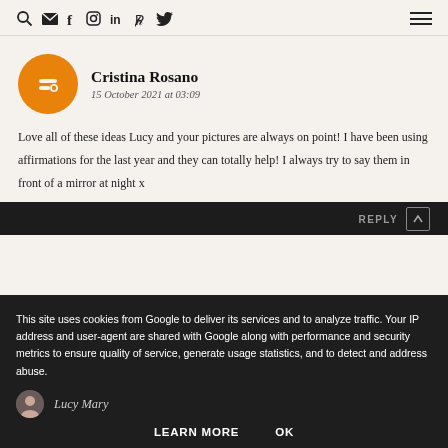Navigation bar with search, email, facebook, instagram, linkedin, pinterest, twitter icons and hamburger menu
Cristina Rosano
15 October 2021 at 03:09
Love all of these ideas Lucy and your pictures are always on point! I have been using affirmations for the last year and they can totally help! I always try to say them in front of a mirror at night x
REPLY
This site uses cookies from Google to deliver its services and to analyze traffic. Your IP address and user-agent are shared with Google along with performance and security metrics to ensure quality of service, generate usage statistics, and to detect and address abuse.
LEARN MORE   OK
Lucy Mary